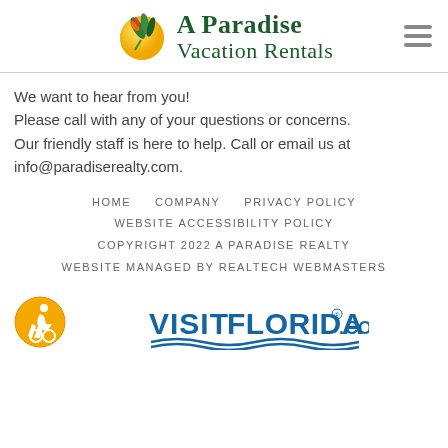[Figure (logo): A Paradise Vacation Rentals logo with bird of paradise flower on yellow sun graphic and green serif text]
We want to hear from you!
Please call with any of your questions or concerns.
Our friendly staff is here to help. Call or email us at
info@paradiserealty.com.
HOME
COMPANY
PRIVACY POLICY
WEBSITE ACCESSIBILITY POLICY
COPYRIGHT 2022 A PARADISE REALTY
WEBSITE MANAGED BY REALTECH WEBMASTERS
[Figure (logo): ADA accessibility badge - yellow circle with wheelchair user icon]
[Figure (logo): VISITFLORIDA.COM logo in blue with wavy lines underneath]